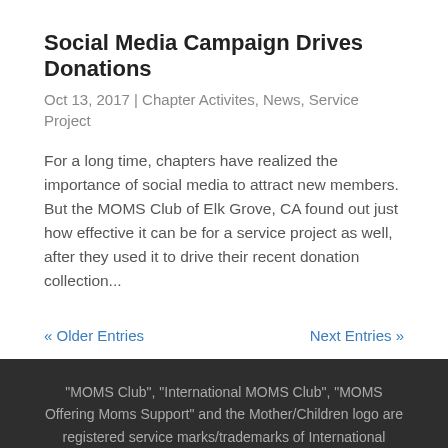Social Media Campaign Drives Donations
Oct 13, 2017 | Chapter Activites, News, Service Project
For a long time, chapters have realized the importance of social media to attract new members. But the MOMS Club of Elk Grove, CA found out just how effective it can be for a service project as well, after they used it to drive their recent donation collection...
« Older Entries    Next Entries »
"MOMS Club", "International MOMS Club", "MOMS Offering Moms Support" and the Mother/Children logo are registered service marks/trademarks of International MOMS Club.